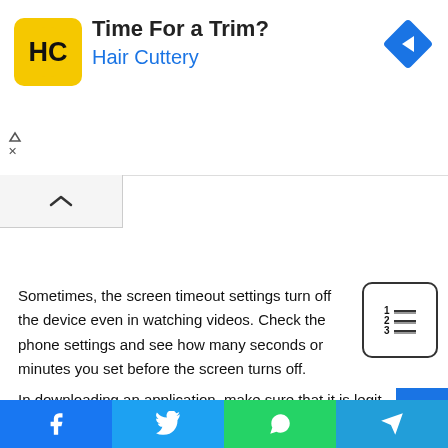[Figure (screenshot): Hair Cuttery advertisement banner with yellow logo, title 'Time For a Trim?' and blue subtitle 'Hair Cuttery', blue diamond road sign icon top right]
Sometimes, the screen timeout settings turn off the device even in watching videos. Check the phone settings and see how many seconds or minutes you set before the screen turns off.
In downloading an application, make sure that it is legit and does not have any viruses which can bug your device. In addition, it is common for some applications to have many...
Facebook | Twitter | WhatsApp | Telegram